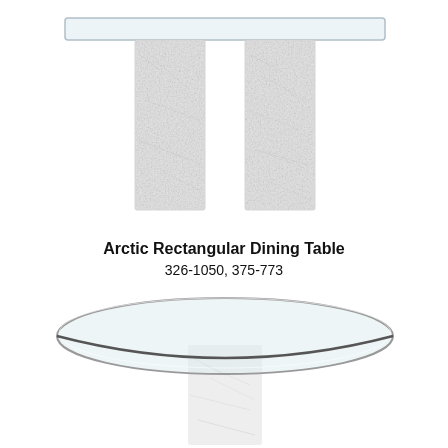[Figure (photo): Arctic Rectangular Dining Table with glass top and two white textured stone/marble column bases, viewed from the front]
Arctic Rectangular Dining Table
326-1050, 375-773
[Figure (photo): Arctic Round Dining Table with oval/round glass top and a single white textured stone/marble column base, viewed from the front]